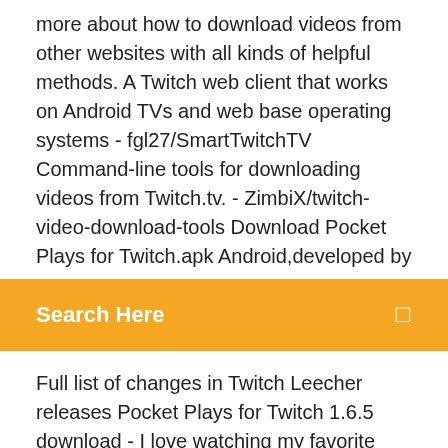more about how to download videos from other websites with all kinds of helpful methods. A Twitch web client that works on Android TVs and web base operating systems - fgl27/SmartTwitchTV Command-line tools for downloading videos from Twitch.tv. - ZimbiX/twitch-video-download-tools Download Pocket Plays for Twitch.apk Android,developed by
Search Here
Full list of changes in Twitch Leecher releases Pocket Plays for Twitch 1.6.5 download - I love watching my favorite streams, so I made a Twitch stream player that is fully featured, easy to use and... White Label OTT and VOD Platform | #1 YouTube clone | #1 Netflix Clone | Enterprise Video Hosting | Video Player | Video CMS | Adoptive SetreamingXtra for Twitch – Aplikace na Google Playhttps://play.google.com/store/apps/detailsXtra is a Twitch client focused on providing the best Desktop-like experience on mobile devices: - Enjoy your favorite emotes with support for